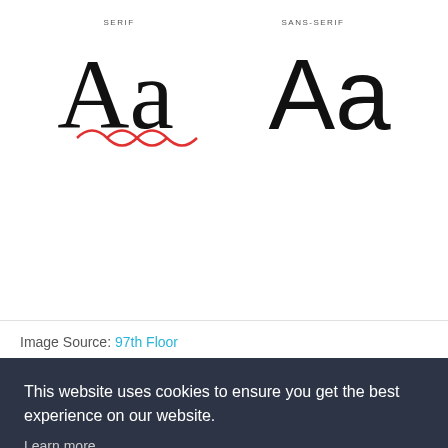[Figure (illustration): Side-by-side comparison of Serif and Sans-Serif font styles. Left side labeled 'SERIF' shows 'Aa' in a serif typeface with red decorative curl underlines. Right side labeled 'SANS-SERIF' shows 'Aa' in a clean sans-serif typeface.]
Image Source: 97th Floor
Limiting yourself to no less than 30 point fonts means
This website uses cookies to ensure you get the best experience on our website.
Learn more
Got it!
from even being there to read your content out.